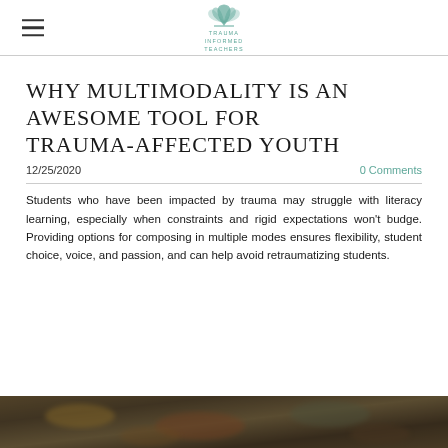Trauma Informed Teachers (logo/navigation header)
WHY MULTIMODALITY IS AN AWESOME TOOL FOR TRAUMA-AFFECTED YOUTH
12/25/2020    0 Comments
Students who have been impacted by trauma may struggle with literacy learning, especially when constraints and rigid expectations won't budge. Providing options for composing in multiple modes ensures flexibility, student choice, voice, and passion, and can help avoid retraumatizing students.
[Figure (photo): Blurred close-up photo of what appears to be art supplies or a tray with colorful items, photographed from above with shallow depth of field.]